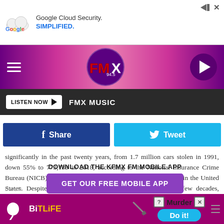[Figure (screenshot): Google Cloud Security advertisement banner with Google logo and text 'Google Cloud Security. SIMPLIFIED.']
[Figure (logo): FMX 94.5 radio station header bar with logo, hamburger menu, and play button]
LISTEN NOW ▶   FMX MUSIC
[Figure (screenshot): Facebook Share and Twitter Tweet social sharing buttons]
significantly in the past twenty years, from 1.7 million cars stolen in 1991, down 55% to 773,139 in 2018, according to the National Insurance Crime Bureau (NICB). On average, 2,118 vehicles are stolen each day in the United States. Despite this decrease in the theft rate over the past few decades, automobile theft is still a pervasive problem that disprop
[Figure (screenshot): Modal overlay: DOWNLOAD THE KFMX FM MOBILE APP with GET OUR FREE MOBILE APP button and Also listen on: amazon alexa]
[Figure (screenshot): BitLife advertisement banner at bottom with Murder / Do it! call to action]